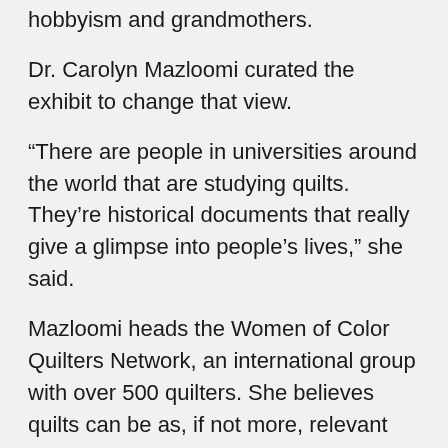hobbyism and grandmothers.
Dr. Carolyn Mazloomi curated the exhibit to change that view.
“There are people in universities around the world that are studying quilts. They’re historical documents that really give a glimpse into people’s lives,” she said.
Mazloomi heads the Women of Color Quilters Network, an international group with over 500 quilters. She believes quilts can be as, if not more, relevant today, than in the past.
“Statistics show that the average American does not get their history not necessarily from reading. It’s more a visual input,” she added.
That’s why Marlene O’Bryant started making quilts 20